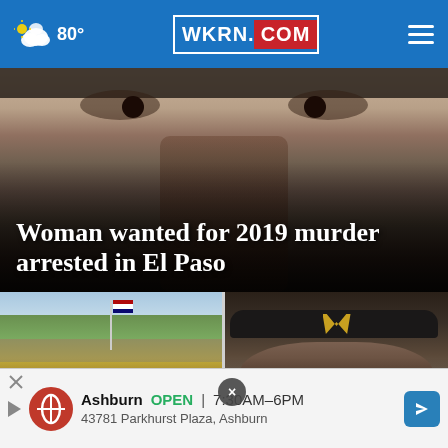80° WKRN.COM ≡
[Figure (photo): Close-up photo of a woman's face, partially shadowed, with intense eyes looking forward. Text overlay reads 'Woman wanted for 2019 murder arrested in El Paso']
Woman wanted for 2019 murder arrested in El Paso
[Figure (photo): Outdoor scene with a crowd of people in hats at what appears to be a camp or outdoor gathering, with buildings and hills in the background. Text overlay reads 'Nolensville awarded Jack Los... Spo... championship']
Nolensville awarded Jack Los... Spo... championship
[Figure (photo): Close-up of an athlete wearing a black headband with a 'W' logo (Washington Commanders). Text overlay reads 'Rookie N... RB ... re...']
Rookie N... RB re...
Ashburn  OPEN  7:30AM–6PM  43781 Parkhurst Plaza, Ashburn